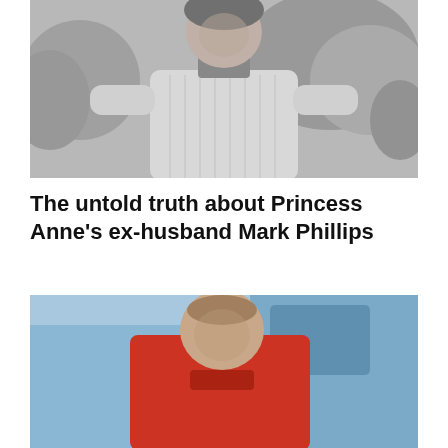[Figure (photo): Black and white photograph of a man wearing a cable-knit sweater and a scarf/neckerchief, outdoors with foliage in the background — Mark Phillips in a vintage photo]
The untold truth about Princess Anne's ex-husband Mark Phillips
[Figure (photo): Color photograph of a man in a red/orange jacket, appearing to be at an outdoor sporting or equestrian event, with blue background elements visible — Mark Phillips in a more recent photo]